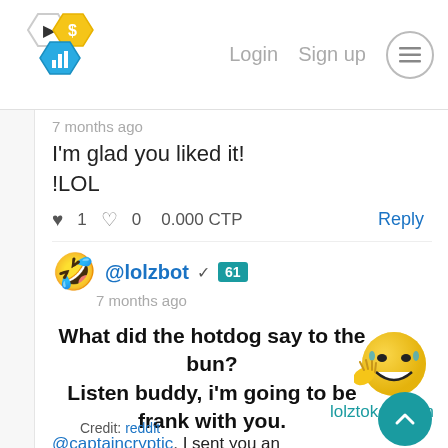Login   Sign up
7 months ago
I'm glad you liked it!
!LOL
♥ 1   ♥ 0   0.000 CTP   Reply
@lolzbot ✓ 61
7 months ago
What did the hotdog say to the bun?
Listen buddy, i'm going to be frank with you.
lolztoken.com
Credit: reddit
@captaincryptic, I sent you an